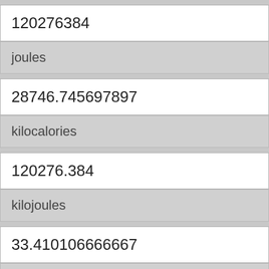120276384
joules
28746.745697897
kilocalories
120276.384
kilojoules
33.410106666667
kilowatt hours